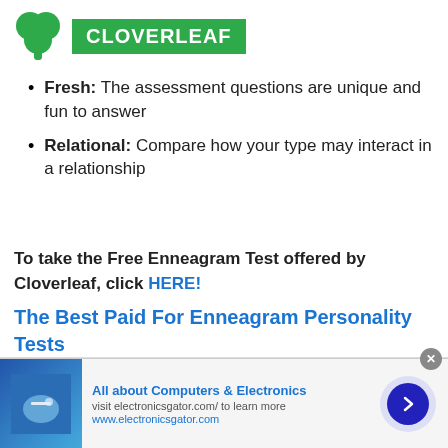[Figure (logo): Cloverleaf logo: green cloverleaf icon next to green banner with white text CLOVERLEAF]
Fresh: The assessment questions are unique and fun to answer
Relational: Compare how your type may interact in a relationship
To take the Free Enneagram Test offered by Cloverleaf, click HERE!
The Best Paid For Enneagram Personality Tests
If you want to further your knowledge of your
[Figure (screenshot): Advertisement banner: All about Computers & Electronics, visit electronicsgator.com/ to learn more, www.electronicsgator.com, with image of hand touching screen and arrow button]